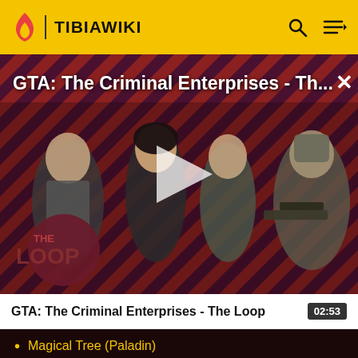TIBIAWIKI
[Figure (screenshot): GTA: The Criminal Enterprises - The Loop video thumbnail showing game characters on a diagonal stripe background with THE LOOP logo, play button in center]
GTA: The Criminal Enterprises - Th...
GTA: The Criminal Enterprises - The Loop  02:53
Magical Tree (Paladin)
Magical Tree (Sorcerer)
Magma Chunk